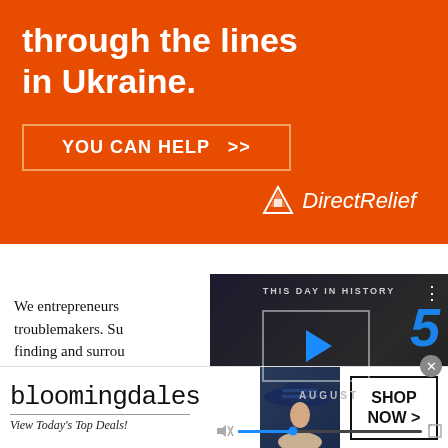[Figure (infographic): Orange Direct Relief advertisement banner: bold white text 'through the lines in Ukraine.' with 'YOU CAN HELP >>' button and Direct Relief logo at bottom right]
We entrepreneurs troublemakers. Su finding and surrou open-minded and our insanity and put it to good use. — Anita
[Figure (screenshot): Video player overlay showing 'THIS DAY IN HISTORY' with a play button, blue number '5', 'AUGUST' text, muted speaker icon, blue progress bar with dot, and fullscreen icon. Dark NFL-themed background.]
[Figure (infographic): Bloomingdale's advertisement: logo text, 'View Today's Top Deals!' tagline, woman in blue hat photo, and 'SHOP NOW >' button]